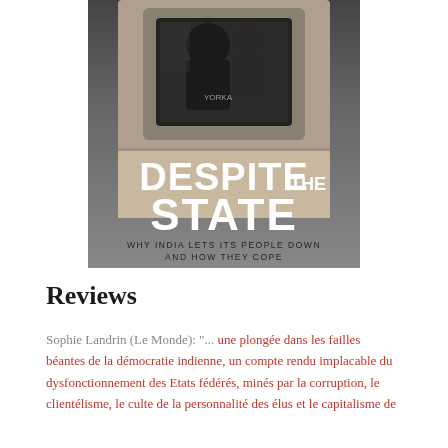[Figure (photo): Book cover of 'Despite the State: Why India Lets Its People Down and How They Cope'. Black and white photo of a person looking through a train window. Large white bold text reads 'DESPITE THE STATE' with subtitle 'WHY INDIA LETS ITS PEOPLE DOWN AND HOW THEY COPE'.]
Reviews
Sophie Landrin (Le Monde): "... une plongée dans les failles béantes de la démocratie indienne, un compte rendu implacable du dysfonctionnement des Etats fédérés, minés par la corruption, le clientélisme, le culte de la personnalité des élus et le capitalisme de